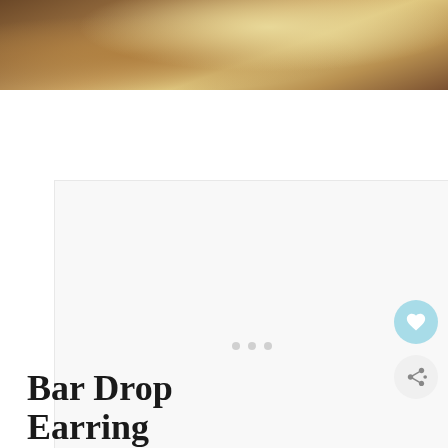[Figure (photo): Close-up photo of a person with blonde hair, showing hair texture and warm tones]
[Figure (other): Advertisement placeholder box with three dots indicator]
[Figure (other): What's Next widget showing a circular thumbnail of succulents with text 'WHAT'S NEXT → Where to Buy Succulents...']
Bar Drop Earring